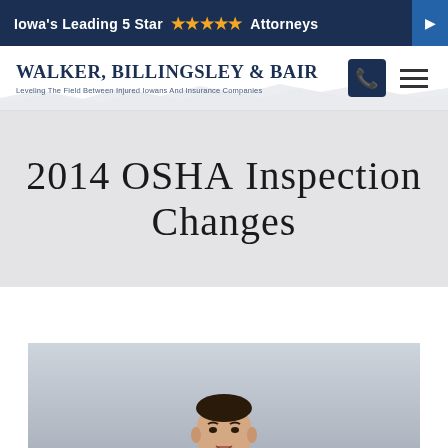Iowa's Leading 5 Star ★★★★★ Attorneys
[Figure (logo): Walker, Billingsley & Bair law firm logo with tagline 'Leveling The Field Between Injured Iowans And Insurance Companies']
2014 OSHA Inspection Changes
[Figure (photo): A man in a suit speaking or presenting, with Walker, Billingsley & Bair branding visible in the background]